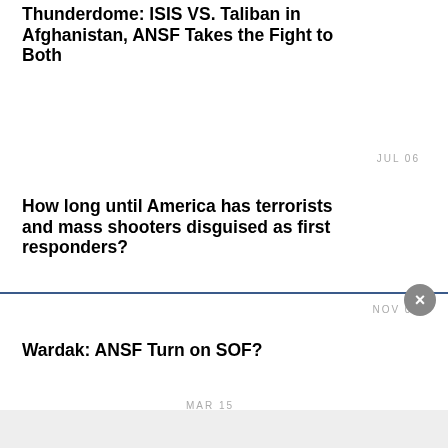Thunderdome: ISIS VS. Taliban in Afghanistan, ANSF Takes the Fight to Both
JUL 06
How long until America has terrorists and mass shooters disguised as first responders?
NOV 09
Wardak: ANSF Turn on SOF?
MAR 15